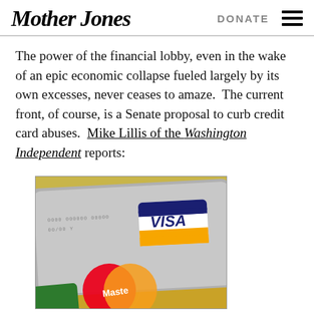Mother Jones | DONATE
The power of the financial lobby, even in the wake of an epic economic collapse fueled largely by its own excesses, never ceases to amaze.  The current front, of course, is a Senate proposal to curb credit card abuses.  Mike Lillis of the Washington Independent reports:
[Figure (photo): Photo of credit cards including a silver Visa card on top, and a gold MasterCard below it, stacked at an angle on a surface.]